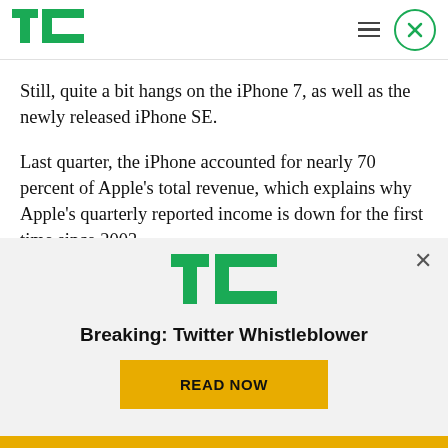TechCrunch
Still, quite a bit hangs on the iPhone 7, as well as the newly released iPhone SE.
Last quarter, the iPhone accounted for nearly 70 percent of Apple's total revenue, which explains why Apple's quarterly reported income is down for the first time since 2003.
Without growing iPhone sales, the company is in for
[Figure (screenshot): TechCrunch advertisement overlay with TC logo, 'Breaking: Twitter Whistleblower' headline, and 'READ NOW' button]
Breaking: Twitter Whistleblower